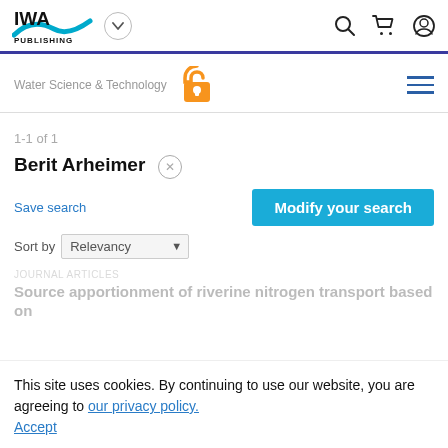[Figure (logo): IWA Publishing logo with blue swoosh]
Water Science & Technology
[Figure (logo): Open access orange lock icon]
1-1 of 1
Berit Arheimer ×
Save search
Modify your search
Sort by Relevancy
JOURNAL ARTICLES
Source apportionment of riverine nitrogen transport based on
This site uses cookies. By continuing to use our website, you are agreeing to our privacy policy. Accept